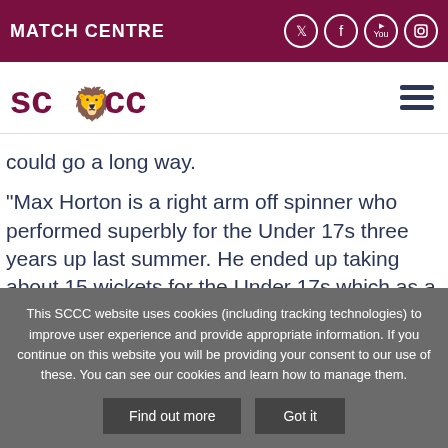MATCH CENTRE
[Figure (logo): SCCC logo with lion crest]
could go a long way.
"Max Horton is a right arm off spinner who performed superbly for the Under 17s three years up last summer. He ended up taking about 15 wickets for the Under 17s which as a 14-year-old is a magnificent achievement."
This SCCC website uses cookies (including tracking technologies) to improve user experience and provide appropriate information. If you continue on this website you will be providing your consent to our use of these. You can see our cookies and learn how to manage them.